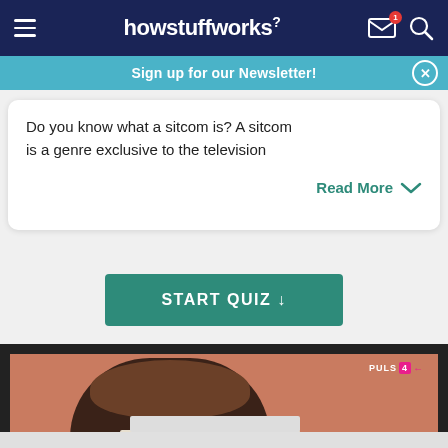howstuffworks
Sign up for our Newsletter!
Do you know what a sitcom is? A sitcom is a genre exclusive to the television
Read More
START QUIZ ↓
[Figure (photo): Screenshot of HowStuffWorks website showing a quiz page with a TV sitcom image featuring a man leaning over books, with a PULS 4 watermark in the corner. A newsletter signup banner overlays the top.]